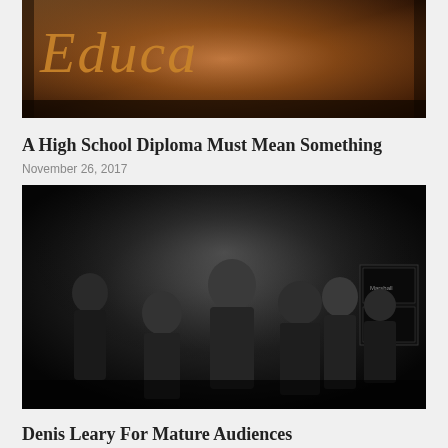[Figure (photo): Close-up of a dark book or diploma cover with the word 'Educa...' (Education) in gold cursive lettering]
A High School Diploma Must Mean Something
November 26, 2017
[Figure (photo): Black and white group photo of six people posed together in a dark studio setting with Marshall amplifiers visible in the background — appears to be a rock band]
Denis Leary For Mature Audiences